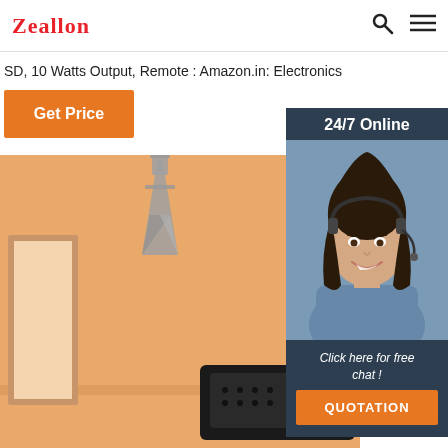Zeallon
SD, 10 Watts Output, Remote : Amazon.in: Electronics
Get Price
[Figure (photo): Room scene with orange/peach background wall, a small Eiffel Tower figurine, a framed picture, and a black Bluetooth speaker/radio device on a shelf]
[Figure (photo): 24/7 Online chat widget showing a smiling woman with a headset, with 'Click here for free chat!' text and a QUOTATION button]